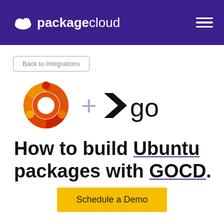packagecloud
Back to Integrations
[Figure (logo): Ubuntu logo (circular orange/red/yellow ring with circle people figures) plus (+) sign plus GoCD logo (black angular arrow with 'go' text)]
How to build Ubuntu packages with GOCD.
Schedule a Demo